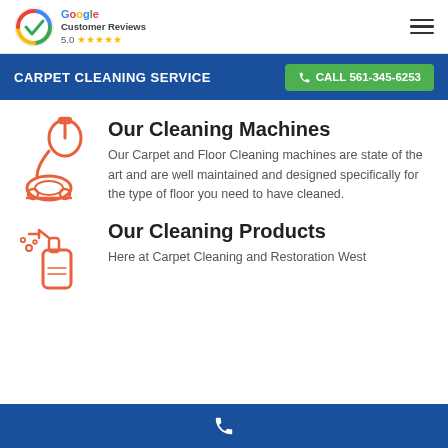Google Customer Reviews 5.0 ★★★★★
CARPET CLEANING SERVICE
CALL 561-345-6253
Our Cleaning Machines
Our Carpet and Floor Cleaning machines are state of the art and are well maintained and designed specifically for the type of floor you need to have cleaned.
Our Cleaning Products
Here at Carpet Cleaning and Restoration West